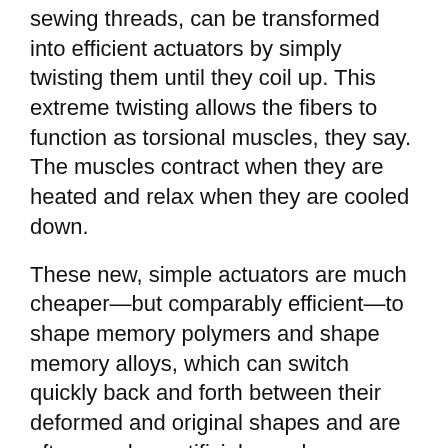sewing threads, can be transformed into efficient actuators by simply twisting them until they coil up. This extreme twisting allows the fibers to function as torsional muscles, they say. The muscles contract when they are heated and relax when they are cooled down.
These new, simple actuators are much cheaper—but comparably efficient—to shape memory polymers and shape memory alloys, which can switch quickly back and forth between their deformed and original shapes and are often used as artificial muscles.
"You can buy a kilogram of ultra-high-strength fibers in bulk for five dollars," Baughman said. "High school students who want to do an experiment in their living room can get these fibers at a local store."